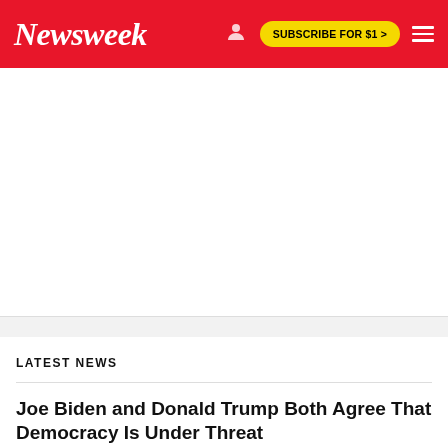Newsweek | SUBSCRIBE FOR $1 >
[Figure (other): White ad space placeholder area]
LATEST NEWS
Joe Biden and Donald Trump Both Agree That Democracy Is Under Threat